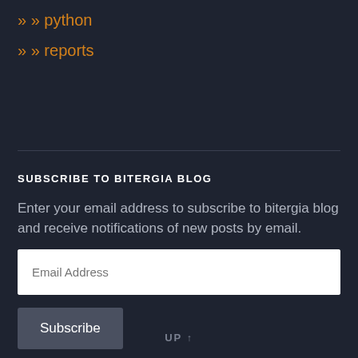» python
» reports
SUBSCRIBE TO BITERGIA BLOG
Enter your email address to subscribe to bitergia blog and receive notifications of new posts by email.
UP ↑